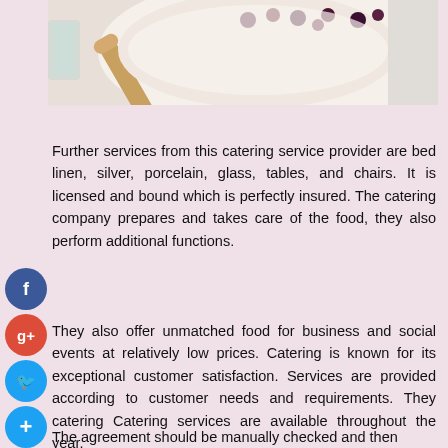[Figure (photo): Close-up photo of a bowl of food (appears to be a dessert or porridge with berries) with a wooden spoon, shot from above on a white background]
Further services from this catering service provider are bed linen, silver, porcelain, glass, tables, and chairs. It is licensed and bound which is perfectly insured. The catering company prepares and takes care of the food, they also perform additional functions.
They also offer unmatched food for business and social events at relatively low prices. Catering is known for its exceptional customer satisfaction. Services are provided according to customer needs and requirements. They catering Catering services are available throughout the year.
The agreement should be manually checked and then